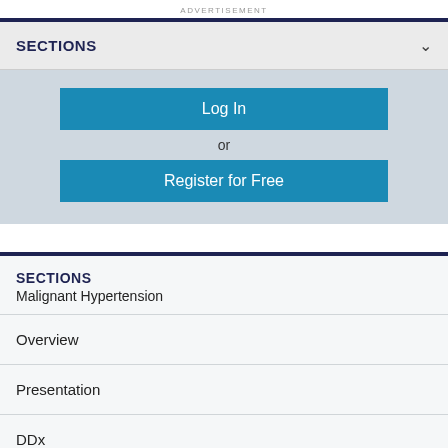ADVERTISEMENT
SECTIONS
Log In
or
Register for Free
SECTIONS
Malignant Hypertension
Overview
Presentation
DDx